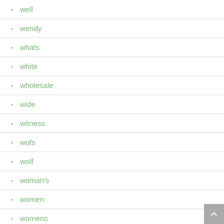well
wendy
whats
white
wholesale
wide
witness
wofs
wolf
woman's
women
womens
wonderful
wooden